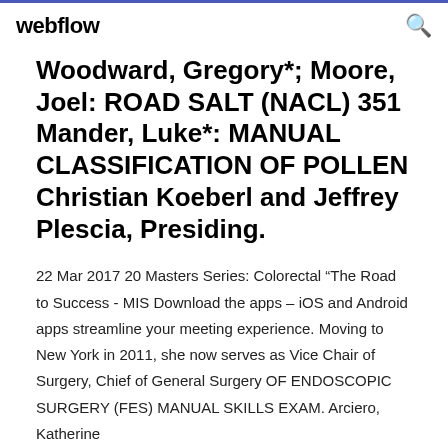webflow
Woodward, Gregory*; Moore, Joel: ROAD SALT (NACL) 351 Mander, Luke*: MANUAL CLASSIFICATION OF POLLEN Christian Koeberl and Jeffrey Plescia, Presiding.
22 Mar 2017 20 Masters Series: Colorectal “The Road to Success - MIS Download the apps – iOS and Android apps streamline your meeting experience. Moving to New York in 2011, she now serves as Vice Chair of Surgery, Chief of General Surgery OF ENDOSCOPIC SURGERY (FES) MANUAL SKILLS EXAM. Arciero, Katherine